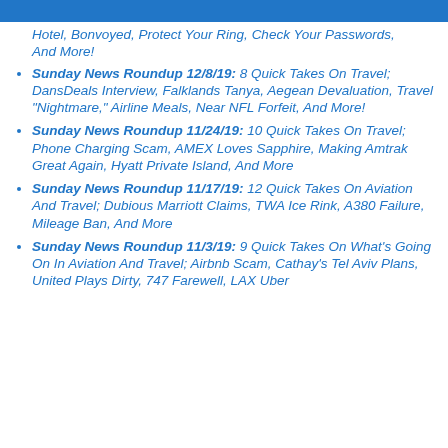DansDeals
Hotel, Bonvoyed, Protect Your Ring, Check Your Passwords, And More!
Sunday News Roundup 12/8/19: 8 Quick Takes On Travel; DansDeals Interview, Falklands Tanya, Aegean Devaluation, Travel "Nightmare," Airline Meals, Near NFL Forfeit, And More!
Sunday News Roundup 11/24/19: 10 Quick Takes On Travel; Phone Charging Scam, AMEX Loves Sapphire, Making Amtrak Great Again, Hyatt Private Island, And More
Sunday News Roundup 11/17/19: 12 Quick Takes On Aviation And Travel; Dubious Marriott Claims, TWA Ice Rink, A380 Failure, Mileage Ban, And More
Sunday News Roundup 11/3/19: 9 Quick Takes On What's Going On In Aviation And Travel; Airbnb Scam, Cathay's Tel Aviv Plans, United Plays Dirty, 747 Farewell, LAX Uber